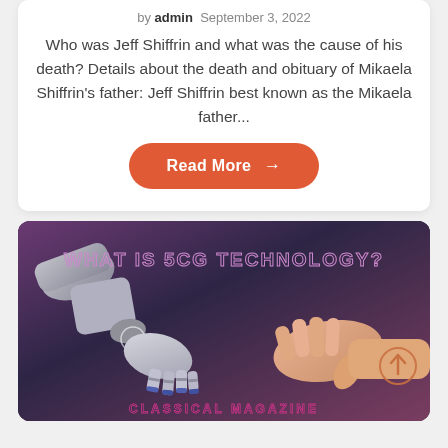by admin  September 3, 2022
Who was Jeff Shiffrin and what was the cause of his death? Details about the death and obituary of Mikaela Shiffrin's father: Jeff Shiffrin best known as the Mikaela father...
Read More →
[Figure (photo): A robot hand shaking a human hand against a dark purple/blue background, with stylized text 'What is 5CG Technology?' at top and 'Classical Magazine' at bottom.]